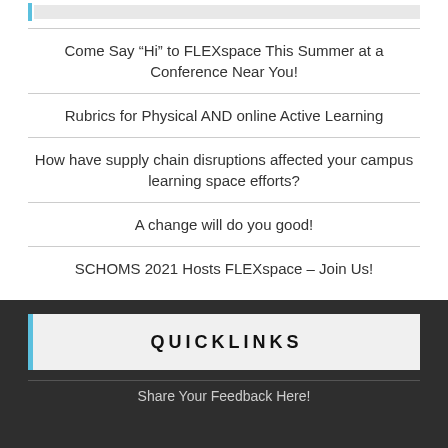Come Say “Hi” to FLEXspace This Summer at a Conference Near You!
Rubrics for Physical AND online Active Learning
How have supply chain disruptions affected your campus learning space efforts?
A change will do you good!
SCHOMS 2021 Hosts FLEXspace – Join Us!
QUICKLINKS
Share Your Feedback Here!